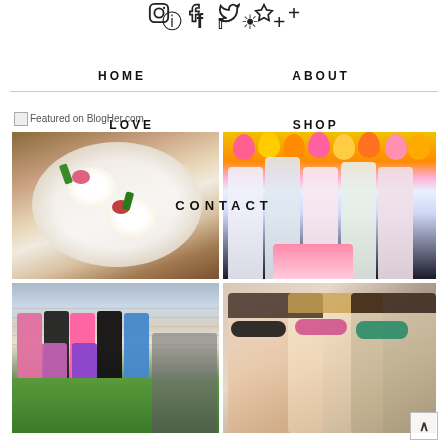HOME  [instagram] [facebook] [twitter] [pinterest] [+]  ABOUT
LOVE  SHOP
Featured on BlogHer.com
CONTACT
[Figure (photo): Close-up photo of gourmet deviled eggs with colorful toppings on a white plate]
[Figure (photo): Group of women posing at a party with colorful balloons and decorations in background]
[Figure (photo): Group fitness class photo outdoors on green grass]
[Figure (photo): Selfie of three women wearing sunglasses]